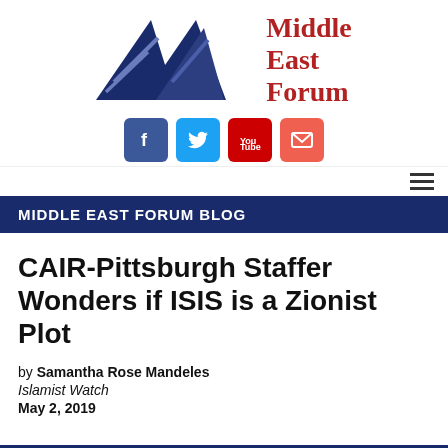[Figure (logo): Middle East Forum logo with two triangle/mountain shapes in dark navy blue and the text 'Middle East Forum' in dark red serif font, plus social media icons for Facebook, Twitter, YouTube, and email below]
MIDDLE EAST FORUM BLOG
CAIR-Pittsburgh Staffer Wonders if ISIS is a Zionist Plot
by Samantha Rose Mandeles
Islamist Watch
May 2, 2019